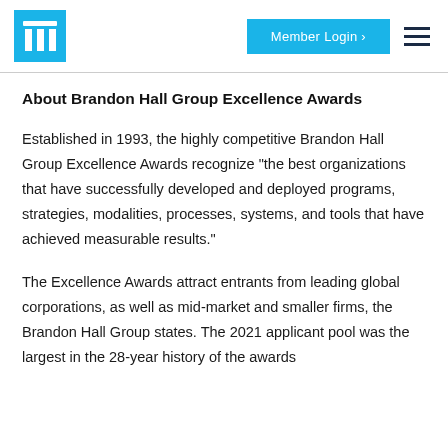Member Login ›
About Brandon Hall Group Excellence Awards
Established in 1993, the highly competitive Brandon Hall Group Excellence Awards recognize “the best organizations that have successfully developed and deployed programs, strategies, modalities, processes, systems, and tools that have achieved measurable results.”
The Excellence Awards attract entrants from leading global corporations, as well as mid-market and smaller firms, the Brandon Hall Group states. The 2021 applicant pool was the largest in the 28-year history of the awards